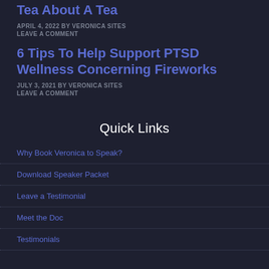Tea About A Tea
APRIL 4, 2022 BY VERONICA SITES
LEAVE A COMMENT
6 Tips To Help Support PTSD Wellness Concerning Fireworks
JULY 3, 2021 BY VERONICA SITES
LEAVE A COMMENT
Quick Links
Why Book Veronica to Speak?
Download Speaker Packet
Leave a Testimonial
Meet the Doc
Testimonials